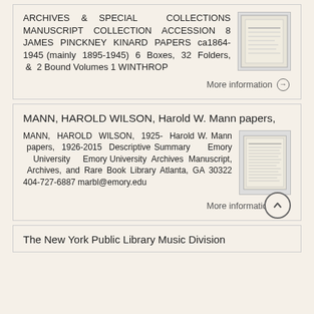ARCHIVES & SPECIAL COLLECTIONS MANUSCRIPT COLLECTION ACCESSION 8 JAMES PINCKNEY KINARD PAPERS ca1864-1945 (mainly 1895-1945) 6 Boxes, 32 Folders, & 2 Bound Volumes 1 WINTHROP
More information →
MANN, HAROLD WILSON, Harold W. Mann papers,
MANN, HAROLD WILSON, 1925- Harold W. Mann papers, 1926-2015 Descriptive Summary Emory University Emory University Archives Manuscript, Archives, and Rare Book Library Atlanta, GA 30322 404-727-6887 marbl@emory.edu
More information →
The New York Public Library Music Division